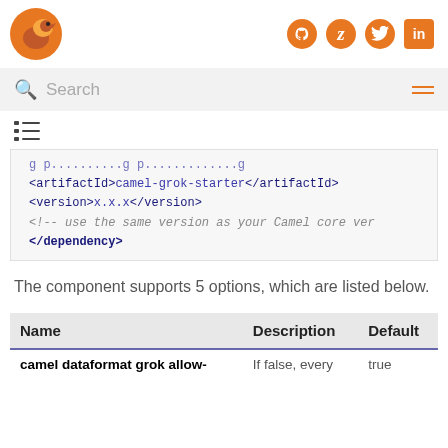Apache Camel documentation page header with logo and social icons
Search
[Figure (illustration): TOC / list icon in dark color]
<artifactId>camel-grok-starter</artifactId>
<version>x.x.x</version>
<!-- use the same version as your Camel core ver
</dependency>
The component supports 5 options, which are listed below.
| Name | Description | Default |
| --- | --- | --- |
| camel dataformat grok allow- | If false, every | true |